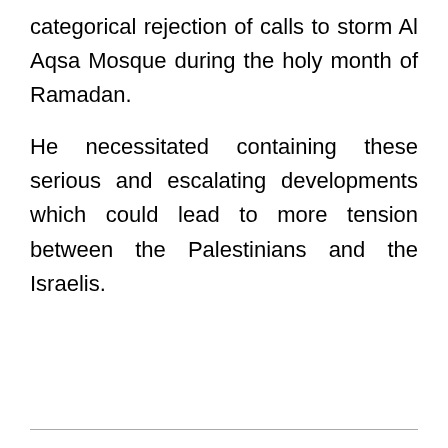categorical rejection of calls to storm Al Aqsa Mosque during the holy month of Ramadan.
He necessitated containing these serious and escalating developments which could lead to more tension between the Palestinians and the Israelis.